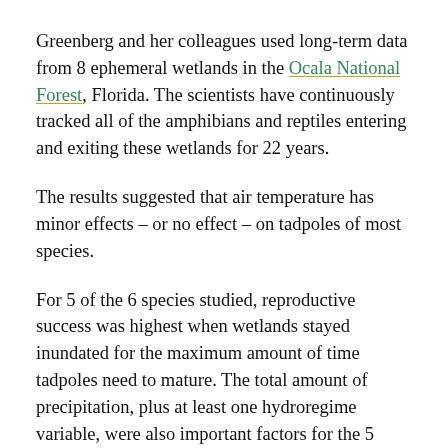Greenberg and her colleagues used long-term data from 8 ephemeral wetlands in the Ocala National Forest, Florida. The scientists have continuously tracked all of the amphibians and reptiles entering and exiting these wetlands for 22 years.
The results suggested that air temperature has minor effects – or no effect – on tadpoles of most species.
For 5 of the 6 species studied, reproductive success was highest when wetlands stayed inundated for the maximum amount of time tadpoles need to mature. The total amount of precipitation, plus at least one hydroregime variable, were also important factors for the 5 species, which include the southern toad, oak toad, eastern narrow-mouthed toad, southern leopard frog, and the gopher frog, a species of conservation concern.